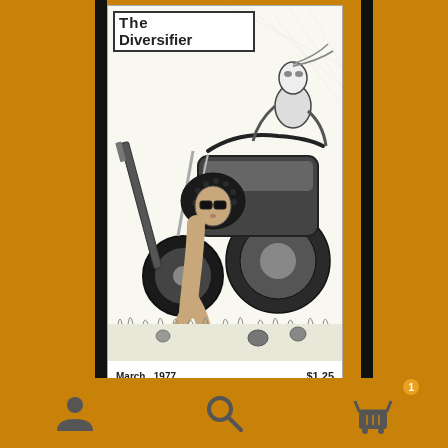The Diversifier
[Figure (illustration): Black and white illustration showing a woman with afro hair and sunglasses seated in grass next to a large motorcycle, with a second figure (robotic or armored) on the motorcycle. Sci-fi/fantasy art style. Artist signature at bottom right reads 'Michael Kaluta' or similar.]
March   1977
$1.25
[Figure (infographic): App interface bottom navigation bar with three icons: user/person icon, search/magnifying glass icon, and shopping cart icon with badge showing number 1.]